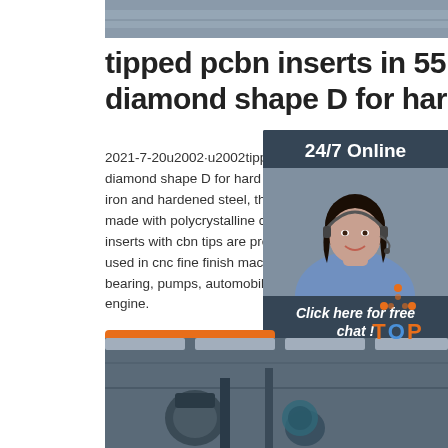[Figure (photo): Top partial photo of industrial/manufacturing equipment, gray tones]
tipped pcbn inserts in 55 degree diamond shape D for hard ...
2021-7-20u2002·u2002tipped pcbn inserts in 55 degree diamond shape D for hard turning ferrous metals of cast iron and hardened steel, the cbn insert cutting edges are made with polycrystalline cubic boron nitride, indexable inserts with cbn tips are precision cutting tools, which are used in cnc fine finish machining and turning roller, bearing, pumps, automobile brake disk, aircraft jet engine.
[Figure (photo): Chat widget with woman wearing headset, dark blue-gray background, 24/7 Online header, Click here for free chat text, and QUOTATION button in orange]
Get Price
[Figure (photo): Bottom photo of industrial factory interior with large machinery, overhead lights visible]
[Figure (logo): TOP logo in orange text with orange dot triangle icon above it]